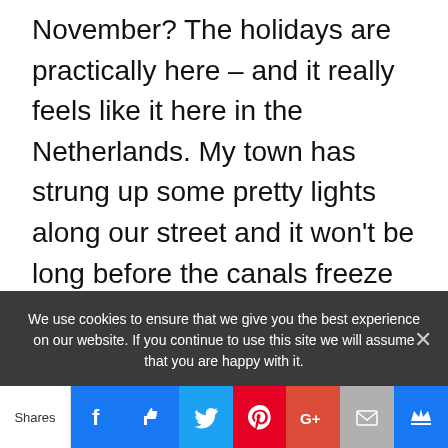November? The holidays are practically here – and it really feels like it here in the Netherlands. My town has strung up some pretty lights along our street and it won't be long before the canals freeze and people start skating to work.
Because it's the first Monday of the month, we have our special giveaway focusing on the loveliness that is contemporary romance.
We use cookies to ensure that we give you the best experience on our website. If you continue to use this site we will assume that you are happy with it.
Shares | Facebook | Like | Twitter | Pinterest | Google+ | Mail | Crown